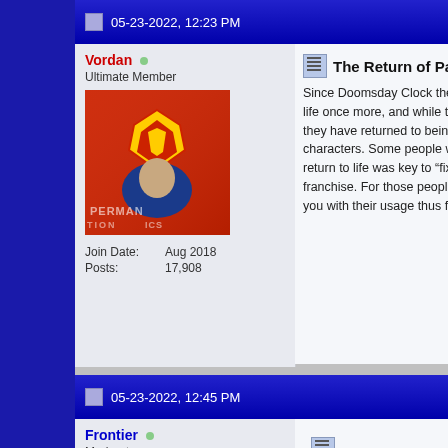05-23-2022, 12:23 PM
Vordan
Ultimate Member
Join Date: Aug 2018
Posts: 17,908
The Return of Pa and Ma
Since Doomsday Clock the elder K to life once more, and while they p book, they have returned to being characters. Some people were ver return to life was key to “fixing” the franchise. For those people I want are you with their usage thus far?
For when my rants on the forums ju
https://thevindicativevordan.tumblr.c
05-23-2022, 12:45 PM
Frontier
Moderator
There've been some sweet scenes Tom Taylor has once again default Bruce a pep talk."